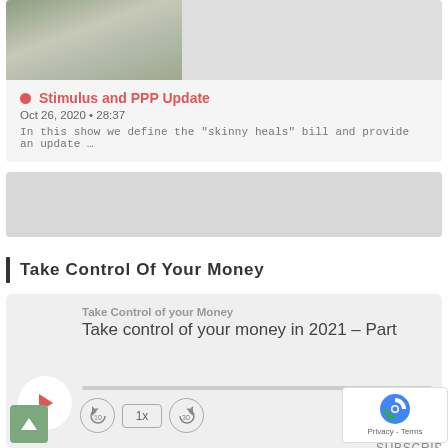[Figure (screenshot): Podcast card with thumbnail image, title 'Stimulus and PPP Update', date and duration, and description text]
Stimulus and PPP Update
Oct 26, 2020 • 28:37
In this show we define the "skinny heals" bill and provide an update …
[Figure (screenshot): Grey placeholder block]
Take Control Of Your Money
[Figure (screenshot): Audio player card for 'Take Control of your Money' podcast, episode 'Take control of your money in 2021 - Part', with play button, progress bar, playback controls (rewind 10, 1x speed, forward 30), time 00:00, and SUBSCRIBE button]
Take Control of your Money
Take control of your money in 2021 – Part
00:00
SUBSCRIBE